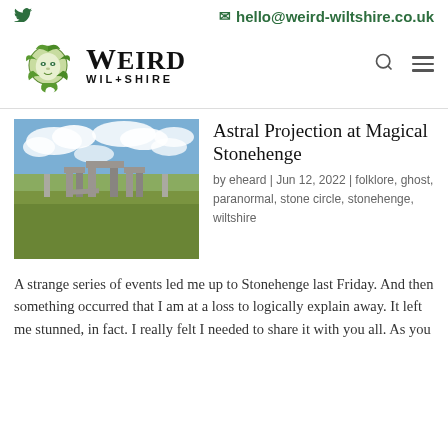Twitter icon | hello@weird-wiltshire.co.uk | Weird Wiltshire logo
[Figure (photo): Stonehenge prehistoric stone circle under blue sky with clouds and green grass]
Astral Projection at Magical Stonehenge
by eheard | Jun 12, 2022 | folklore, ghost, paranormal, stone circle, stonehenge, wiltshire
A strange series of events led me up to Stonehenge last Friday. And then something occurred that I am at a loss to logically explain away. It left me stunned, in fact. I really felt I needed to share it with you all. As you